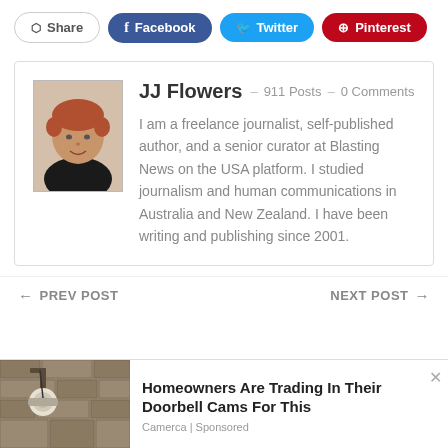[Figure (infographic): Social share buttons: Share, Facebook, Twitter, Pinterest]
[Figure (photo): Author profile card for JJ Flowers with headshot photo. Name: JJ Flowers, 911 Posts, 0 Comments. Bio: I am a freelance journalist, self-published author, and a senior curator at Blasting News on the USA platform. I studied journalism and human communications in Australia and New Zealand. I have been writing and publishing since 2001.]
PREV POST
NEXT POST
[Figure (photo): Advertisement: Homeowners Are Trading In Their Doorbell Cams For This. Camerca | Sponsored. Image shows a security camera mounted on a stone wall.]
Homeowners Are Trading In Their Doorbell Cams For This
Camerca | Sponsored